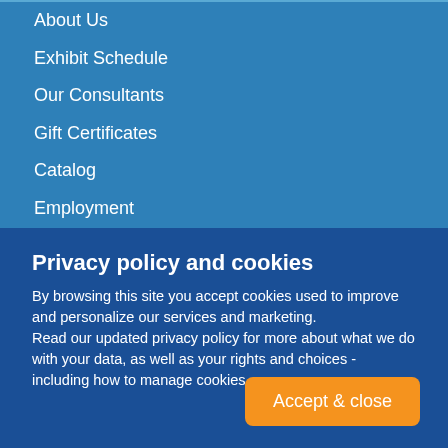About Us
Exhibit Schedule
Our Consultants
Gift Certificates
Catalog
Employment
Our Ministries
Site Map
Privacy policy and cookies
By browsing this site you accept cookies used to improve and personalize our services and marketing.
Read our updated privacy policy for more about what we do with your data, as well as your rights and choices - including how to manage cookies.
Accept & close